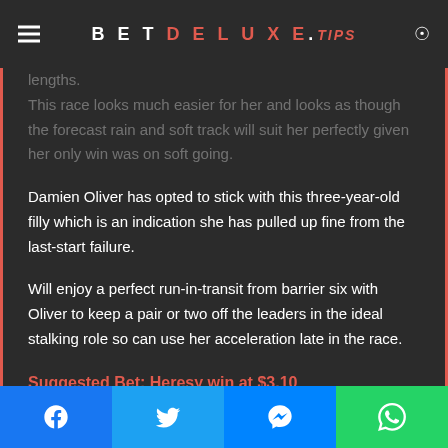BETDELUXE.TIPS
This race looks much easier for her and looks as though the forecast rain and soft track will suit her perfectly given her only win was on soft going.
Damien Oliver has opted to stick with this three-year-old filly which is an indication she has pulled up fine from the last-start failure.
Will enjoy a perfect run-in-transit from barrier six with Oliver to keep a pair or two off the leaders in the ideal stalking role so can use her acceleration late in the race.
Suggested Bet: Heresy win at $3.10
Facebook | Twitter | Messenger | WhatsApp